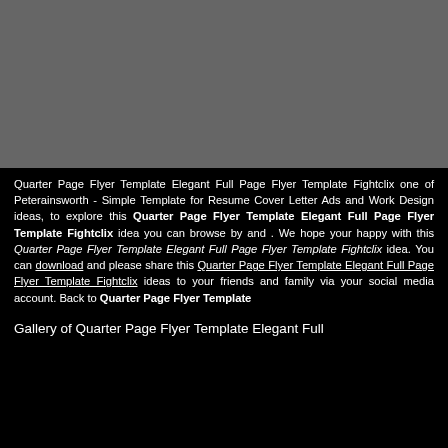[Figure (photo): Dark gray rectangular image placeholder area occupying the top portion of the page]
Quarter Page Flyer Template Elegant Full Page Flyer Template Fightclix one of Peterainsworth - Simple Template for Resume Cover Letter Ads and Work Design ideas, to explore this Quarter Page Flyer Template Elegant Full Page Flyer Template Fightclix idea you can browse by and . We hope your happy with this Quarter Page Flyer Template Elegant Full Page Flyer Template Fightclix idea. You can download and please share this Quarter Page Flyer Template Elegant Full Page Flyer Template Fightclix ideas to your friends and family via your social media account. Back to Quarter Page Flyer Template
Gallery of Quarter Page Flyer Template Elegant Full